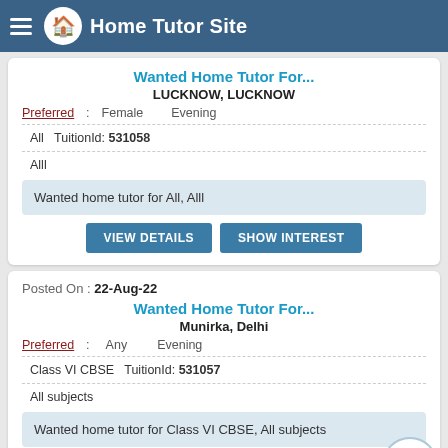Home Tutor Site
Wanted Home Tutor For...
LUCKNOW, LUCKNOW
Preferred: Female Evening
All  TuitionId: 531058
Alll
Wanted home tutor for All, Alll
Posted On : 22-Aug-22
Wanted Home Tutor For...
Munirka, Delhi
Preferred: Any Evening
Class VI CBSE  TuitionId: 531057
All subjects
Wanted home tutor for Class VI CBSE, All subjects